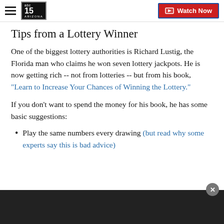abc15 ARIZONA — Watch Now
Tips from a Lottery Winner
One of the biggest lottery authorities is Richard Lustig, the Florida man who claims he won seven lottery jackpots. He is now getting rich -- not from lotteries -- but from his book, "Learn to Increase Your Chances of Winning the Lottery."
If you don't want to spend the money for his book, he has some basic suggestions:
Play the same numbers every drawing (but read why some experts say this is bad advice)